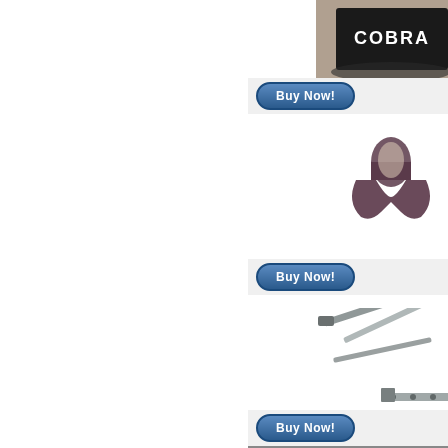[Figure (photo): Cobra branded spare tire cover on the back of a vehicle]
[Figure (other): Blue oval Buy Now button]
... [Deta
seali per m
[Figure (photo): Dark brown/purple rubber sealing strip or door seal component]
... [Deta
[Figure (other): Blue oval Buy Now button]
swin supp
[Figure (photo): Silver metal swing arm or lid support hinge mechanism]
... [Deta
[Figure (other): Blue oval Buy Now button]
tail s
[Figure (photo): Partial view of tail gate or door hardware with green background]